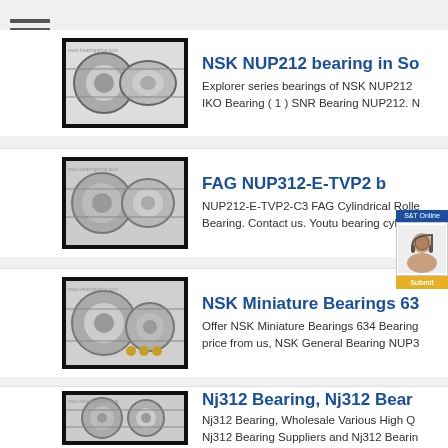[Figure (screenshot): Menu hamburger icon (three horizontal lines)]
[Figure (photo): Photo of NSK NUP212 cylindrical roller bearings]
NSK NUP212 bearing in So
Explorer series bearings of NSK NUP212 IKO Bearing ( 1 ) SNR Bearing NUP212. N
[Figure (photo): Photo of FAG NUP312-E-TVP2 cylindrical roller bearings]
FAG NUP312-E-TVP2 b
NUP212-E-TVP2-C3 FAG Cylindrical Rolle Bearing. Contact us. Youtu bearing cylindr
[Figure (photo): Photo of NSK Miniature Bearings 634]
NSK Miniature Bearings 63
Offer NSK Miniature Bearings 634 Bearing price from us, NSK General Bearing NUP3
[Figure (photo): Photo of Nj312 Bearing]
Nj312 Bearing, Nj312 Bear
Nj312 Bearing, Wholesale Various High Q Nj312 Bearing Suppliers and Nj312 Bearin